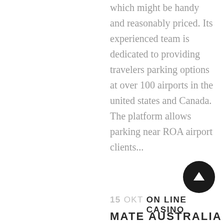which might be handy and reasonably priced. Its experienced team is dedicated to providing travelers parking options at over 100 airports in the united states and Canada. The platform allows parking near ROA airport clients...
[Figure (other): Black circular button with a white upward-pointing arrow, used as a scroll-to-top button]
15 OKT ON LINE CASINO MATE AUSTRALIA